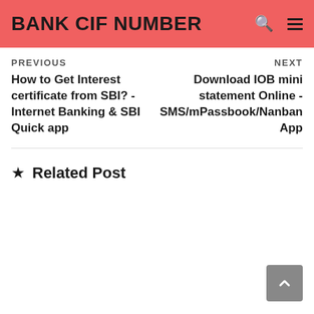BANK CIF NUMBER
PREVIOUS
NEXT
How to Get Interest certificate from SBI? - Internet Banking & SBI Quick app
Download IOB mini statement Online - SMS/mPassbook/Nanban App
Related Post